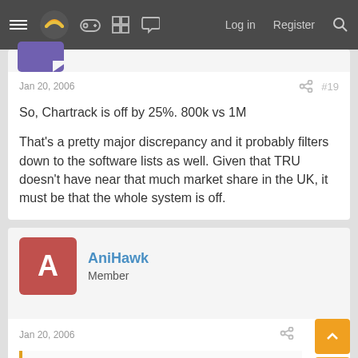Nav bar with hamburger menu, logo, icons, Log in, Register, Search
Jan 20, 2006  #19
So, Chartrack is off by 25%. 800k vs 1M

That's a pretty major discrepancy and it probably filters down to the software lists as well. Given that TRU doesn't have near that much market share in the UK, it must be that the whole system is off.
AniHawk
Member
Jan 20, 2006
sonycowboy said:
So, Chartrack is off by 25%. 800k vs 1M